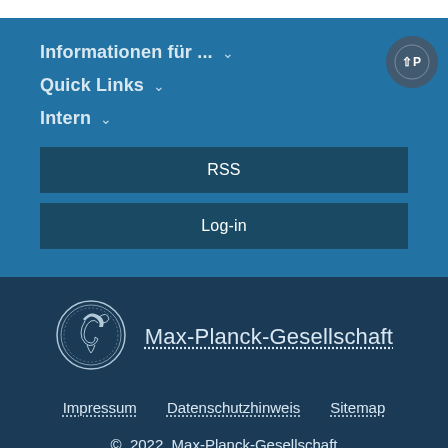Informationen für ... ∨
Quick Links ∨
Intern ∨
RSS
Log-in
[Figure (logo): Max-Planck-Gesellschaft circular coin/medallion logo with profile of Minerva]
Max-Planck-Gesellschaft
Impressum   Datenschutzhinweis   Sitemap
© 2022, Max-Planck-Gesellschaft